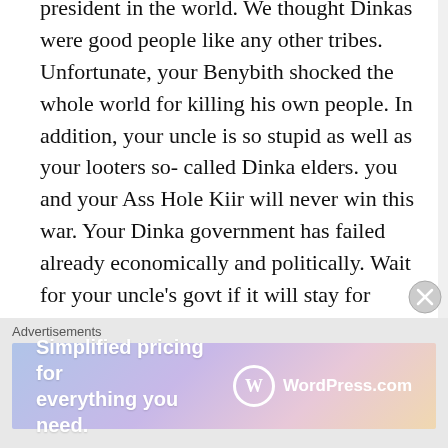president in the world. We thought Dinkas were good people like any other tribes. Unfortunate, your Benybith shocked the whole world for killing his own people. In addition, your uncle is so stupid as well as your looters so- called Dinka elders. you and your Ass Hole Kiir will never win this war. Your Dinka government has failed already economically and politically. Wait for your uncle's govt if it will stay for another year… but i doubt it. Just to remind you againt jong raan (Dinka) your English skill is so bad as kiir. Next time say I thought you were… logically you are not fit on social media. You
Advertisements
[Figure (infographic): WordPress.com advertisement banner with gradient background (blue to purple to pink to orange). Text reads 'Simplified pricing for everything you need.' with WordPress.com logo on the right.]